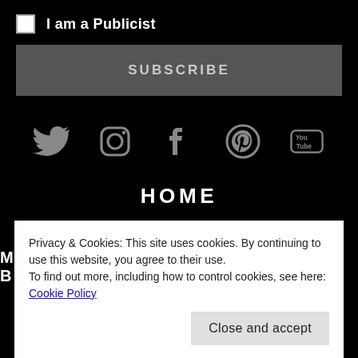I am a Publicist
SUBSCRIBE
[Figure (illustration): Row of social media icons: Twitter, Instagram, Facebook, Pinterest, YouTube]
HOME
FOR THE ARTIST
MUSIC BIZ   IN THE STUDIO   GEAR REVIEWS
Privacy & Cookies: This site uses cookies. By continuing to use this website, you agree to their use. To find out more, including how to control cookies, see here: Cookie Policy
Close and accept